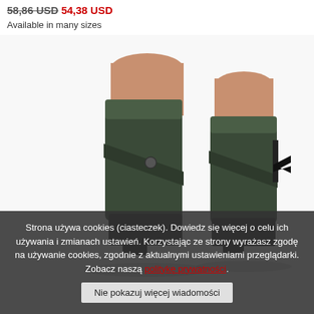58,86 USD  54,38 USD
Available in many sizes
[Figure (photo): Two dark green suede ankle boots with strap and button detail, shown from behind/side on white background]
Strona używa cookies (ciasteczek). Dowiedz się więcej o celu ich używania i zmianach ustawień. Korzystając ze strony wyrażasz zgodę na używanie cookies, zgodnie z aktualnymi ustawieniami przeglądarki. Zobacz naszą politykę prywatności.
Nie pokazuj więcej wiadomości